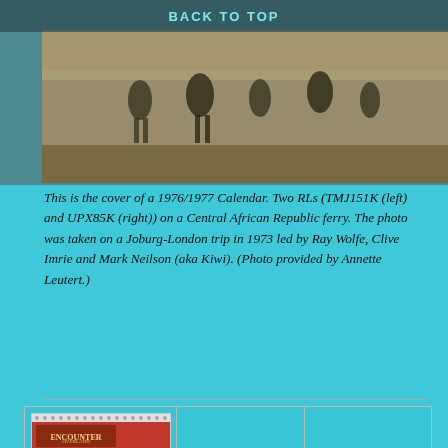[Figure (photo): BACK TO TOP navigation bar over a photo of two RL trucks on a Central African Republic ferry, people visible on ferry deck in outdoor daylight setting]
This is the cover of a 1976/1977 Calendar. Two RLs (TMJ151K (left) and UPX85K (right)) on a Central African Republic ferry. The photo was taken on a Joburg-London trip in 1973 led by Ray Wolfe, Clive Imrie and Mark Neilson (aka Kiwi). (Photo provided by Annette Leutert.)
[Figure (photo): 1994 Calendar cover showing Encounter Overland branding with red header bar, year 1994, a group photo of travelers with an overlanding vehicle, and cursive text 'geared to a closeness with Nature!']
1994 Calendar